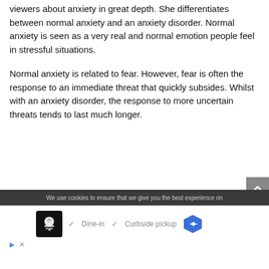viewers about anxiety in great depth. She differentiates between normal anxiety and an anxiety disorder. Normal anxiety is seen as a very real and normal emotion people feel in stressful situations.
Normal anxiety is related to fear. However, fear is often the response to an immediate threat that quickly subsides. Whilst with an anxiety disorder, the response to more uncertain threats tends to last much longer.
We use cookies to ensure that we give you the best experience on
[Figure (screenshot): Advertisement overlay showing a restaurant logo with chef icon, Dine-in and Curbside pickup options with checkmarks, a blue hexagonal navigation arrow icon, and play/close controls.]